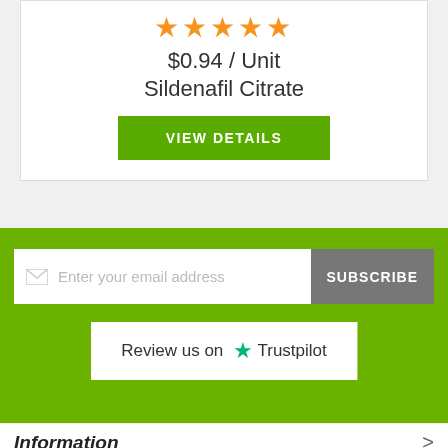[Figure (other): Five orange stars rating display]
$0.94 / Unit
Sildenafil Citrate
VIEW DETAILS
Enter your email address
SUBSCRIBE
Review us on ★ Trustpilot
Information
Page